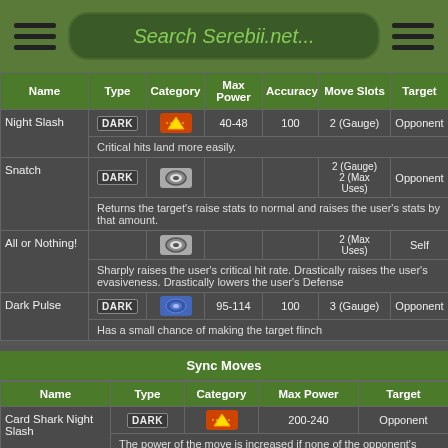Search Serebii.net...
| Name | Type | Category | Max Power | Accuracy | Move Slots | Target |
| --- | --- | --- | --- | --- | --- | --- |
| Night Slash | DARK | [physical icon] | 40-48 | 100 | 2 (Gauge) | Opponent |
|  | Critical hits land more easily. |  |  |  |  |  |
| Snatch | DARK | [status icon] |  |  | 2 (Gauge) 2 (Max Uses) | Opponent |
|  | Returns the target’s raise stats to normal and raises the user’s stats by that amount. |  |  |  |  |  |
| All or Nothing! |  | [status icon] |  |  | 2 (Max Uses) | Self |
|  | Sharply raises the user’s critical hit rate. Drastically raises the user’s evasiveness. Drastically lowers the user’s Defense |  |  |  |  |  |
| Dark Pulse | DARK | [special icon] | 95-114 | 100 | 3 (Gauge) | Opponent |
|  | Has a small chance of making the target flinch |  |  |  |  |  |
Sync Moves
| Name | Type | Category | Max Power | Target |
| --- | --- | --- | --- | --- |
| Card Shark Night Slash | DARK | [physical icon] | 200-240 | Opponent |
|  | The power of the move is increased if none of the opponent’s stats are raised. |  |  |  |